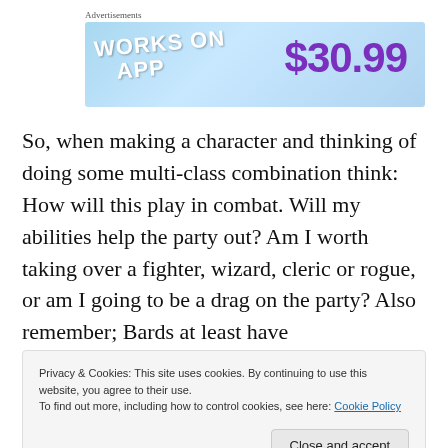Advertisements
[Figure (other): Advertisement banner with blue gradient background showing 'WORKS ON APP' text and price '$30.99' in purple]
So, when making a character and thinking of doing some multi-class combination think: How will this play in combat. Will my abilities help the party out? Am I worth taking over a fighter, wizard, cleric or rogue, or am I going to be a drag on the party? Also remember; Bards at least have
Privacy & Cookies: This site uses cookies. By continuing to use this website, you agree to their use.
To find out more, including how to control cookies, see here: Cookie Policy